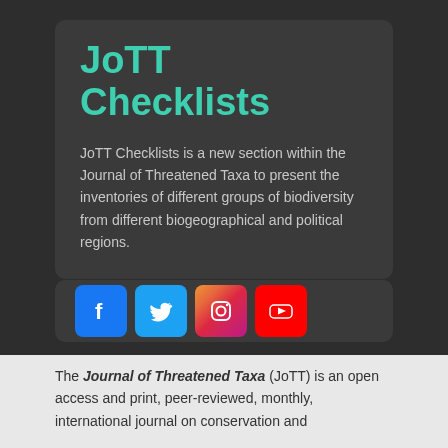JoTT Checklists
JoTT Checklists is a new section within the Journal of Threatened Taxa to present the inventories of different groups of biodiversity from different biogeographical and political regions.
[Figure (infographic): Four social media icons: Facebook (blue), Twitter (light blue), Instagram (gradient), YouTube (red)]
The Journal of Threatened Taxa (JoTT) is an open access and print, peer-reviewed, monthly, international journal on conservation and